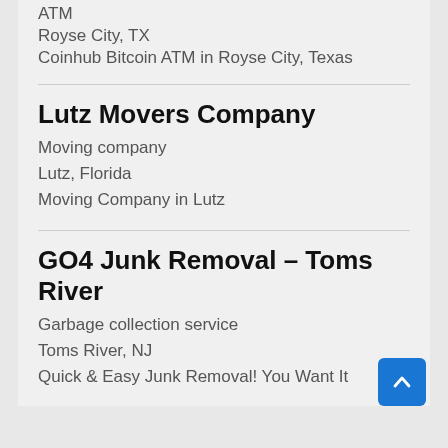ATM
Royse City, TX
Coinhub Bitcoin ATM in Royse City, Texas
Lutz Movers Company
Moving company
Lutz, Florida
Moving Company in Lutz
GO4 Junk Removal – Toms River
Garbage collection service
Toms River, NJ
Quick & Easy Junk Removal! You Want It